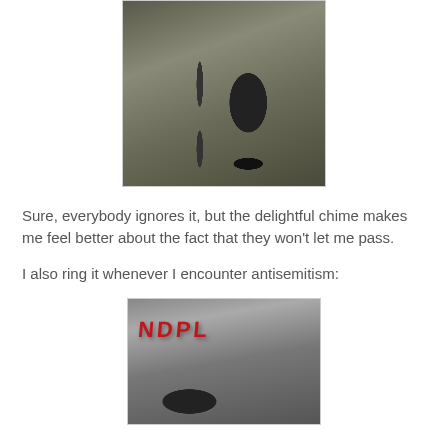[Figure (photo): Close-up photo of a bicycle wheel leaning against a graffiti-covered wall on gravel ground]
Sure, everybody ignores it, but the delightful chime makes me feel better about the fact that they won't let me pass.
I also ring it whenever I encounter antisemitism:
[Figure (photo): Photo of a rock or concrete surface covered with red graffiti text, with a bicycle saddle visible in the lower portion]